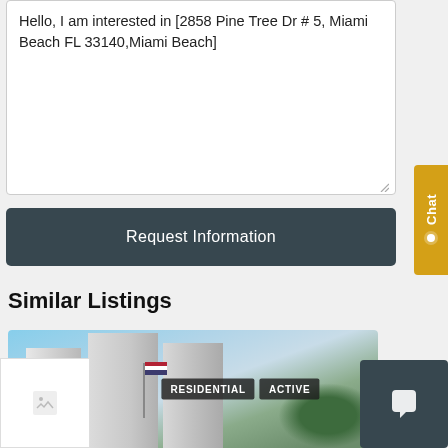Hello, I am interested in [2858 Pine Tree Dr # 5, Miami Beach FL 33140,Miami Beach]
Request Information
Similar Listings
[Figure (photo): Exterior photo of a tall residential high-rise building with trees and an American flag, with badges reading RESIDENTIAL and ACTIVE overlaid]